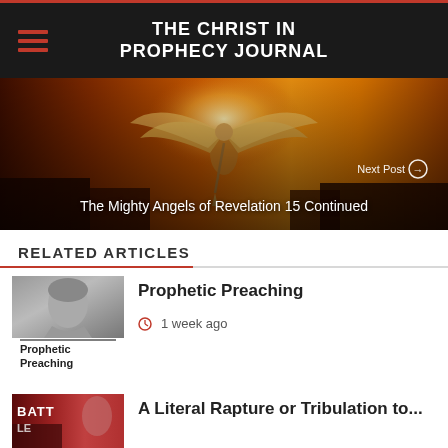THE CHRIST IN PROPHECY JOURNAL
[Figure (illustration): Banner image with angel figure in golden/fiery background. Shows 'Next Post' navigation and title 'The Mighty Angels of Revelation 15 Continued']
The Mighty Angels of Revelation 15 Continued
RELATED ARTICLES
[Figure (photo): Thumbnail photo of a person with text overlay 'Prophetic Preaching']
Prophetic Preaching
1 week ago
A Literal Rapture or Tribulation to...